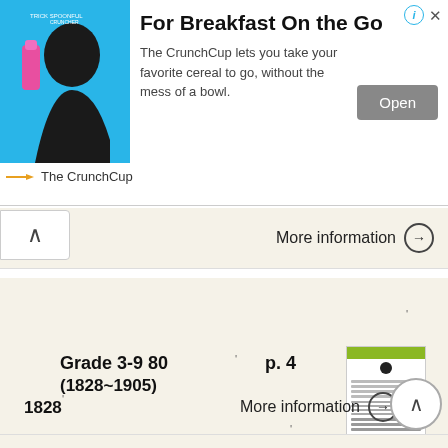[Figure (photo): Advertisement banner for The CrunchCup showing a woman drinking from a pink bottle on a blue background. Headline: For Breakfast On the Go. Body: The CrunchCup lets you take your favorite cereal to go, without the mess of a bowl. Open button visible.]
For Breakfast On the Go
The CrunchCup lets you take your favorite cereal to go, without the mess of a bowl.
The CrunchCup
More information →
Grade 3-9 80
(1828~1905)
1828
p. 4
[Figure (screenshot): Document thumbnail showing a page with a green header bar, a dark circular element, and lines of text below.]
More information →